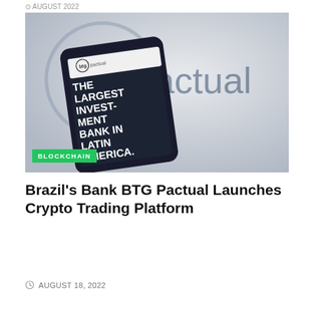AUGUST 2022
[Figure (photo): Photo of a smartphone displaying BTG Pactual website with text 'The Largest Investment Bank in Latin America.' held in front of a blurred BTG Pactual logo background. A green 'BLOCKCHAIN' tag is overlaid at the bottom-left of the image.]
Brazil's Bank BTG Pactual Launches Crypto Trading Platform
AUGUST 18, 2022